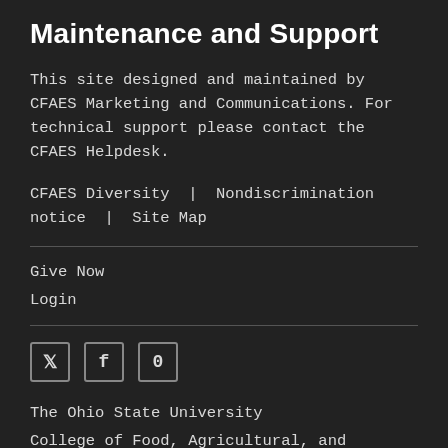Maintenance and Support
This site designed and maintained by CFAES Marketing and Communications. For technical support please contact the CFAES Helpdesk.
CFAES Diversity | Nondiscrimination notice | Site Map
Give Now
Login
Social icons: Twitter, Facebook, YouTube
The Ohio State University
College of Food, Agricultural, and Environmental